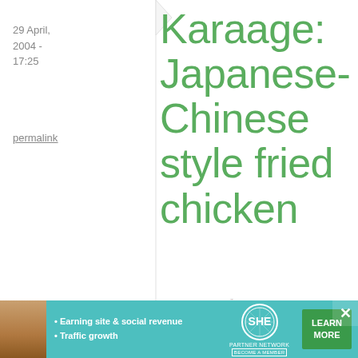29 April, 2004 - 17:25
permalink
Karaage: Japanese-Chinese style fried chicken
what could be better
[Figure (infographic): Advertisement banner for SHE Media Partner Network. Teal background with woman photo, bullet points 'Earning site & social revenue' and 'Traffic growth', SHE logo with 'PARTNER NETWORK / BECOME A MEMBER', and a green 'LEARN MORE' button.]